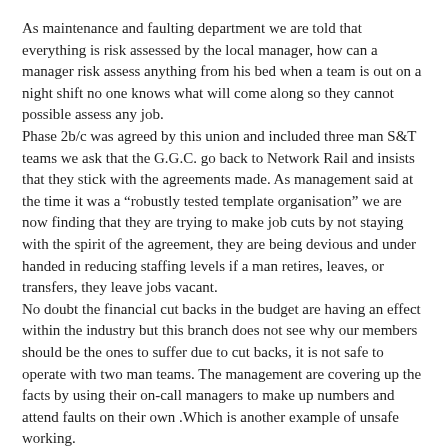As maintenance and faulting department we are told that everything is risk assessed by the local manager, how can a manager risk assess anything from his bed when a team is out on a night shift no one knows what will come along so they cannot possible assess any job. Phase 2b/c was agreed by this union and included three man S&T teams we ask that the G.G.C. go back to Network Rail and insists that they stick with the agreements made. As management said at the time it was a “robustly tested template organisation” we are now finding that they are trying to make job cuts by not staying with the spirit of the agreement, they are being devious and under handed in reducing staffing levels if a man retires, leaves, or transfers, they leave jobs vacant. No doubt the financial cut backs in the budget are having an effect within the industry but this branch does not see why our members should be the ones to suffer due to cut backs, it is not safe to operate with two man teams. The management are covering up the facts by using their on-call managers to make up numbers and attend faults on their own .Which is another example of unsafe working. We ask that this matter is taken up by our national leaders as soon as possible.”
GGC Decision
“That we note this resolution was submitted to the 2014 Annual General Meeting.”